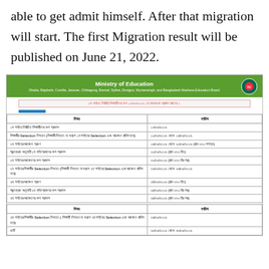able to get admit himself. After that migration will start. The first Migration result will be published on June 21, 2022.
[Figure (screenshot): Screenshot of Ministry of Education Bangladesh website showing a schedule table with dates for admission phases (1st, 2nd, 3rd phase) including selection confirmation, migration results, and application windows. Table headers are in Bengali: 'বিষয়' (Subject) and 'তারিখ' (Date). Dates range from 10/06/2019 to 28/06/2019 and beyond.]